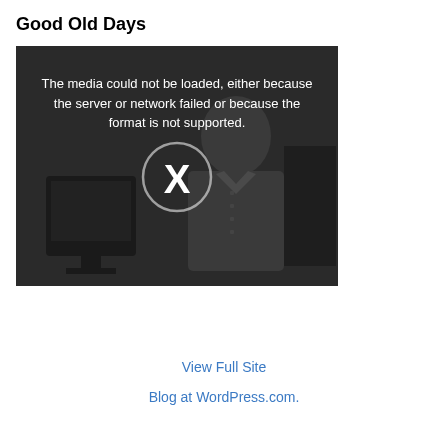Good Old Days
[Figure (screenshot): A video player showing an error message 'The media could not be loaded, either because the server or network failed or because the format is not supported.' with an X symbol in a circle, over a dark grayscale background image of a person near a computer monitor.]
View Full Site
Blog at WordPress.com.